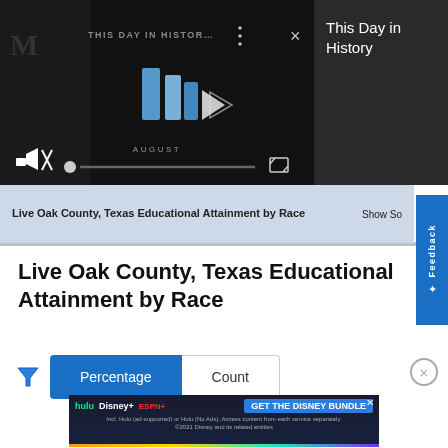[Figure (screenshot): Video player showing 'This Day in History' with play button, mute icon, progress bar, and fullscreen button on dark background]
This Day in History
Live Oak County, Texas Educational Attainment by Race
Show So
Live Oak County, Texas Educational Attainment by Race
[Figure (screenshot): Toggle buttons: 'Percentage' (active, blue) and 'Count' (inactive, white)]
[Figure (screenshot): Advertisement banner: hulu + Disney+ + ESPN+ Get the Disney Bundle. Incl. Hulu (ad-supported) or Hulu (No Ads). Access content from each service separately. ©2021 Disney and its related entities]